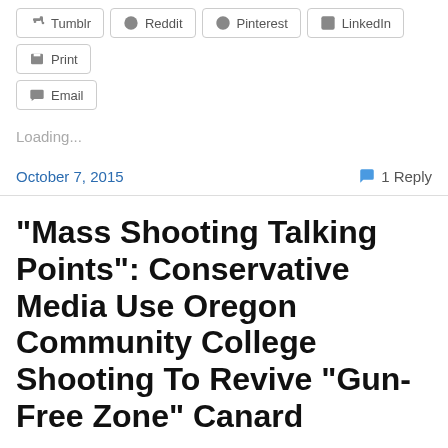[Figure (other): Social share buttons row: Tumblr, Reddit, Pinterest, LinkedIn, Print]
[Figure (other): Email share button]
Loading...
October 7, 2015    1 Reply
“Mass Shooting Talking Points”: Conservative Media Use Oregon Community College Shooting To Revive “Gun-Free Zone” Canard